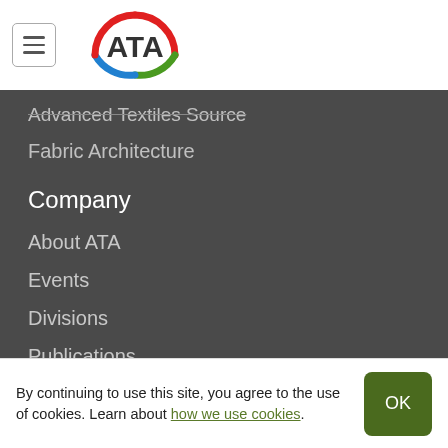[Figure (logo): ATA (Advanced Textiles Association) logo with circular arc in red, green, and blue colors surrounding the text ATA]
Advanced Textiles Source
Fabric Architecture
Company
About ATA
Events
Divisions
Publications
Support
Contact
Advertise
Membership
By continuing to use this site, you agree to the use of cookies. Learn about how we use cookies.